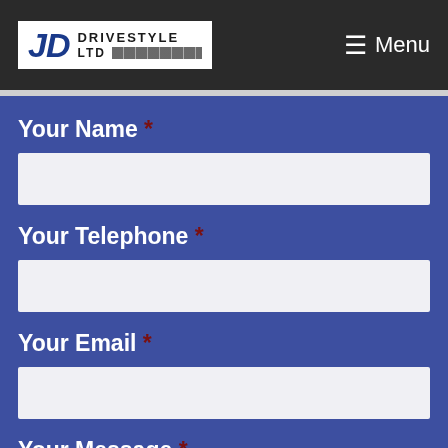[Figure (logo): JD Drivestyle Ltd logo with blue JD letters and brick pattern, white background]
≡ Menu
Your Name *
Your Telephone *
Your Email *
Your Message *